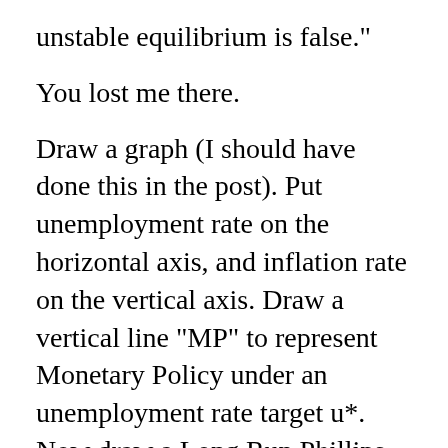unstable equilibrium is false."
You lost me there.
Draw a graph (I should have done this in the post). Put unemployment rate on the horizontal axis, and inflation rate on the vertical axis. Draw a vertical line "MP" to represent Monetary Policy under an unemployment rate target u*. Now draw a Long Run Phillips Curve "LRPC". If the two curves cross, there's an equilibrium where they cross. If the LRPC slopes up (the "wrong" way) that equilibrium is unstable. You might *want* to target u*